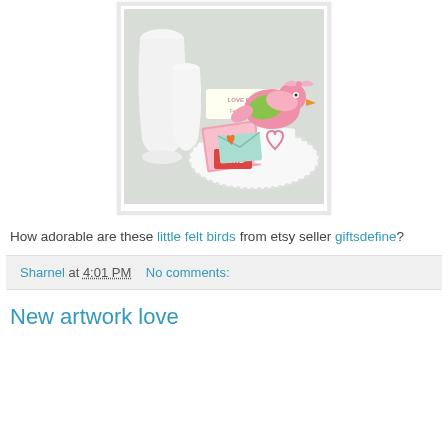[Figure (photo): A pink felt bird toy with green wing on a white decorative plate, with love bird cards and XOXO tags, white vases in background]
How adorable are these little felt birds from etsy seller giftsdefine?
Sharnel at 4:01 PM    No comments:
New artwork love